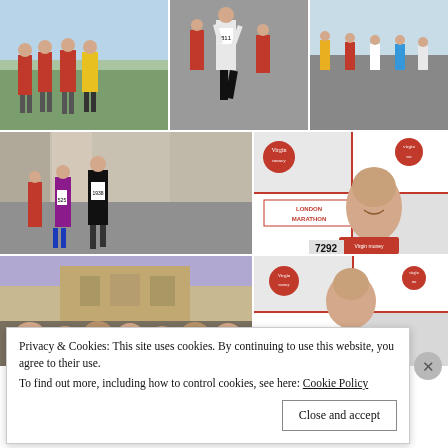[Figure (photo): Group of runners in red vests posing on green grass field]
[Figure (photo): Female runner bib 811 racing on road with competitors behind]
[Figure (photo): Runners on a road in bright sunlight, aerial or side view]
[Figure (photo): Street race with runners including bib 525 and 1938 on an urban road]
[Figure (photo): Man smiling at Virgin Money London Marathon backdrop, holding bib 7292]
[Figure (photo): Crowd of people on street with historic building in background]
[Figure (photo): Continuation of London Marathon Virgin Money backdrop with number 7292]
Privacy & Cookies: This site uses cookies. By continuing to use this website, you agree to their use.
To find out more, including how to control cookies, see here: Cookie Policy
Close and accept